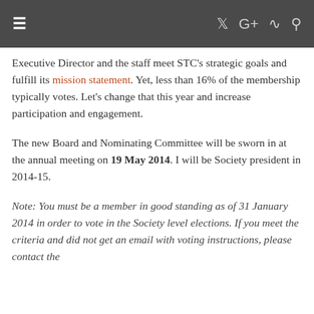≡  𝕏  G+  )))  🔍
Executive Director and the staff meet STC's strategic goals and fulfill its mission statement. Yet, less than 16% of the membership typically votes. Let's change that this year and increase participation and engagement.
The new Board and Nominating Committee will be sworn in at the annual meeting on 19 May 2014. I will be Society president in 2014-15.
Note: You must be a member in good standing as of 31 January 2014 in order to vote in the Society level elections. If you meet the criteria and did not get an email with voting instructions, please contact the